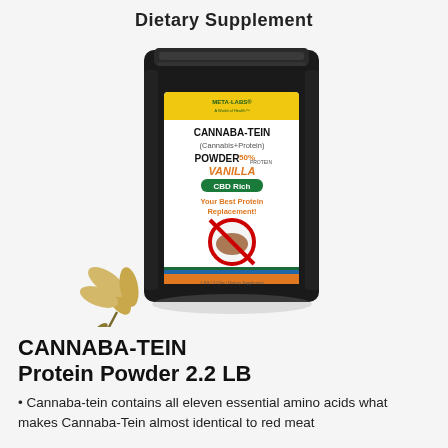Dietary Supplement
[Figure (photo): Product photo of CANNABA-TEIN Cannabis+Protein Powder 2.2 LB Vanilla CBD Rich in a black resealable bag with a white label featuring the Meta-Labs brand, a no-beef symbol, and vanilla flower decoration]
CANNABA-TEIN Protein Powder 2.2 LB
Cannaba-tein contains all eleven essential amino acids what makes Cannaba-Tein almost identical to red meat